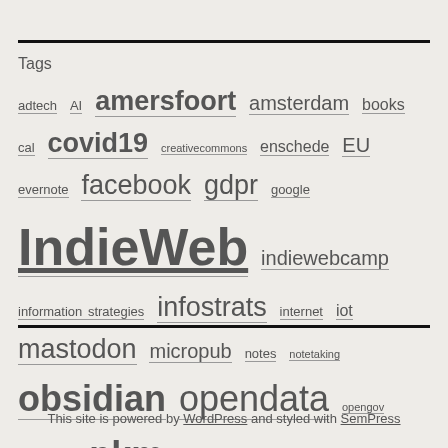Tags
adtech AI amersfoort amsterdam books cal covid19 creativecommons enschede EU evernote facebook gdpr google IndieWeb indiewebcamp information strategies infostrats internet iot mastodon micropub notes notetaking obsidian opendata opengov opml pei pkm privacy reboot rss serbia sf stm18 techfestival tools twitter utrecht vathorst webmention weeknotes wordpress wp
This site is powered by WordPress and styled with SemPress